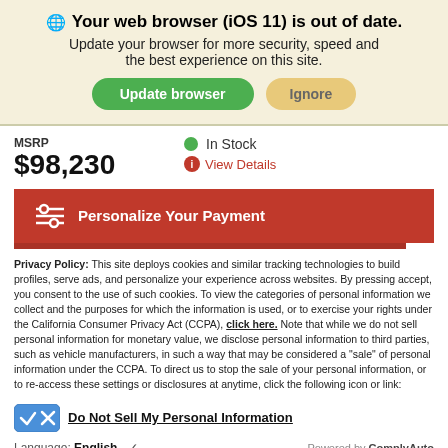Your web browser (iOS 11) is out of date.
Update your browser for more security, speed and the best experience on this site.
MSRP $98,230
In Stock
View Details
Personalize Your Payment
Privacy Policy: This site deploys cookies and similar tracking technologies to build profiles, serve ads, and personalize your experience across websites. By pressing accept, you consent to the use of such cookies. To view the categories of personal information we collect and the purposes for which the information is used, or to exercise your rights under the California Consumer Privacy Act (CCPA), click here. Note that while we do not sell personal information for monetary value, we disclose personal information to third parties, such as vehicle manufacturers, in such a way that may be considered a "sale" of personal information under the CCPA. To direct us to stop the sale of your personal information, or to re-access these settings or disclosures at anytime, click the following icon or link:
Do Not Sell My Personal Information
Language: English
Powered by ComplyAuto
Accept and Continue →
California Privacy Disclosures